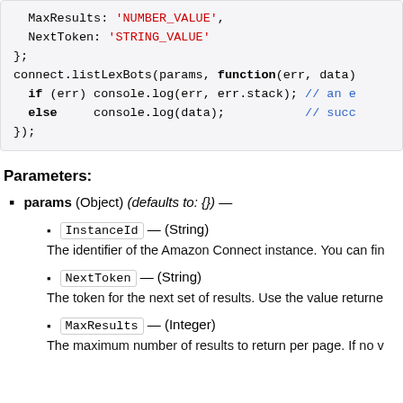MaxResults: 'NUMBER_VALUE',
  NextToken: 'STRING_VALUE'
};
connect.listLexBots(params, function(err, data)
  if (err) console.log(err, err.stack); // an e
  else     console.log(data);           // succ
});
Parameters:
params (Object) (defaults to: {}) —
InstanceId — (String)
The identifier of the Amazon Connect instance. You can fin
NextToken — (String)
The token for the next set of results. Use the value returne
MaxResults — (Integer)
The maximum number of results to return per page. If no v